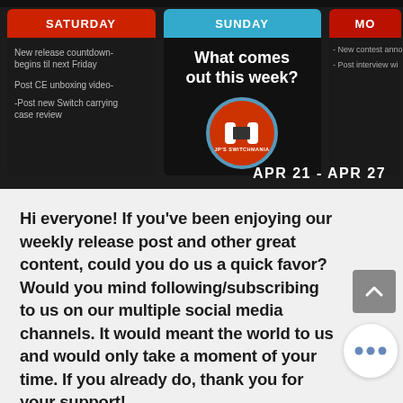[Figure (screenshot): Weekly content schedule graphic showing Saturday (red header), Sunday (blue header) with 'What comes next week?' text and JP's Switchmania logo, partially cut Monday column, date range APR 21 - APR 27]
Hi everyone! If you've been enjoying our weekly release post and other great content, could you do us a quick favor? Would you mind following/subscribing to us on our multiple social media channels. It would meant the world to us and would only take a moment of your time. If you already do, thank you for your support!